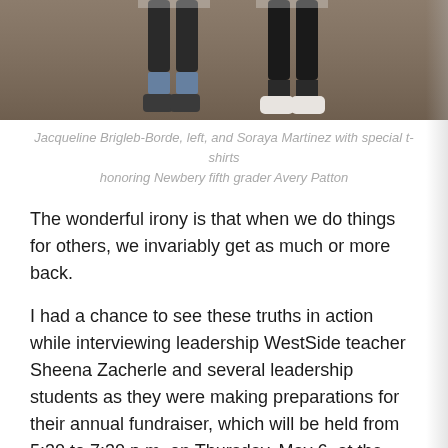[Figure (photo): Cropped photo showing the lower bodies/legs of two people standing on a grassy/dirt area, wearing special t-shirts, athletic socks and shoes.]
Jacqueline Brigleb-Borde, left, and Soraya Martinez with special t-shirts honoring Newbery fifth grader Avery Patton
The wonderful irony is that when we do things for others, we invariably get as much or more back.
I had a chance to see these truths in action while interviewing leadership WestSide teacher Sheena Zacherle and several leadership students as they were making preparations for their annual fundraiser, which will be held from 5:30 to 7:30 p.m. on Thursday, May 6, at the school parking lot at 1510 Ninth St.
This year, they are raising funds to help the family of Newbery Elementary student Avery Patton, who is undergoing treatment for a rare form of pediatric ovarian cancer. I cannot think of a more deserving cause.Avery has had three major surgeries and has been treated at a medical center across the country and